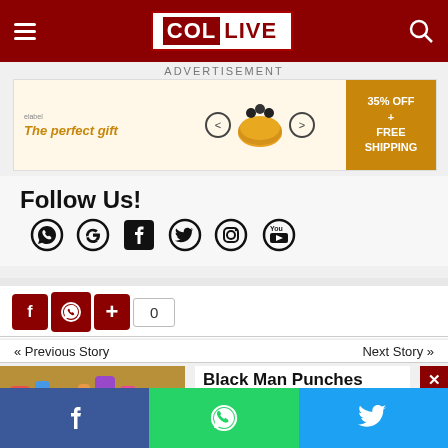COL LIVE
ADVERTISEMENT
[Figure (photo): Advertisement banner for The perfect gift - food product with 35% OFF + FREE SHIPPING]
Follow Us!
[Figure (infographic): Social media icons: WhatsApp, Google, Facebook, Twitter, Instagram, YouTube]
[Figure (infographic): Share buttons: Facebook (f), WhatsApp, plus (+), count 0]
« Previous Story
Next Story »
[Figure (photo): Playground equipment photo for previous story]
Black Man Punches Jewish Stu...
[Figure (infographic): Bottom share bar with Facebook, WhatsApp, and Twitter buttons]